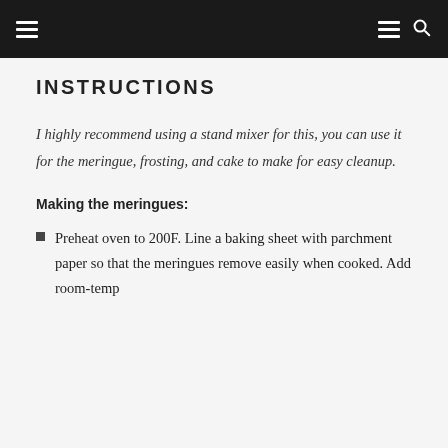[Navigation bar with hamburger menu, menu icon, and search icon]
INSTRUCTIONS
I highly recommend using a stand mixer for this, you can use it for the meringue, frosting, and cake to make for easy cleanup.
Making the meringues:
Preheat oven to 200F. Line a baking sheet with parchment paper so that the meringues remove easily when cooked. Add room-temp